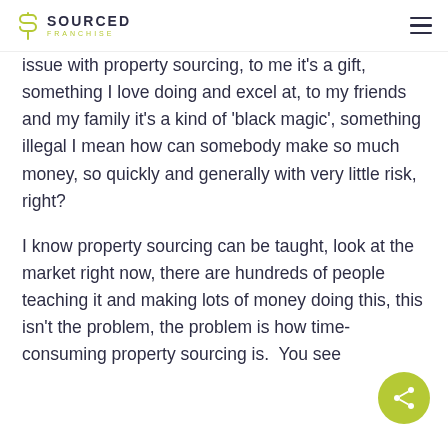SOURCED FRANCHISE
issue with property sourcing, to me it's a gift, something I love doing and excel at, to my friends and my family it's a kind of 'black magic', something illegal I mean how can somebody make so much money, so quickly and generally with very little risk, right?
I know property sourcing can be taught, look at the market right now, there are hundreds of people teaching it and making lots of money doing this, this isn't the problem, the problem is how time-consuming property sourcing is.  You see